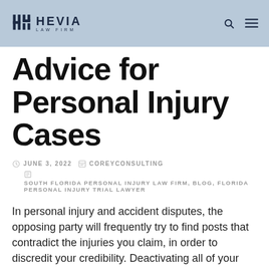HEVIA LAW FIRM
Advice for Personal Injury Cases
JUNE 3, 2022   COREYCONSULTING   SOUTH FLORIDA PERSONAL INJURY LAW FIRM, BLOG, FLORIDA PERSONAL INJURY TRIAL LAWYER
In personal injury and accident disputes, the opposing party will frequently try to find posts that contradict the injuries you claim, in order to discredit your credibility. Deactivating all of your social media accounts is the greatest method